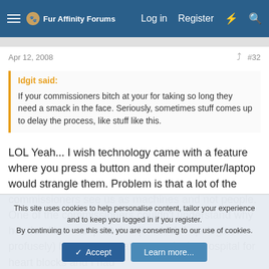Fur Affinity Forums — Log in   Register
Apr 12, 2008   #32
Idgit said:
If your commissioners bitch at your for taking so long they need a smack in the face. Seriously, sometimes stuff comes up to delay the process, like stuff like this.
LOL Yeah... I wish technology came with a feature where you press a button and their computer/laptop would strangle them. Problem is that a lot of the commissioners see us as machines and not people. One of the commissioners couldn't understand why her deadline was past due (in which I apologized profusely) because my father was in the hospital for heart blocks and I had
This site uses cookies to help personalise content, tailor your experience and to keep you logged in if you register.
By continuing to use this site, you are consenting to our use of cookies.
✓ Accept   Learn more...